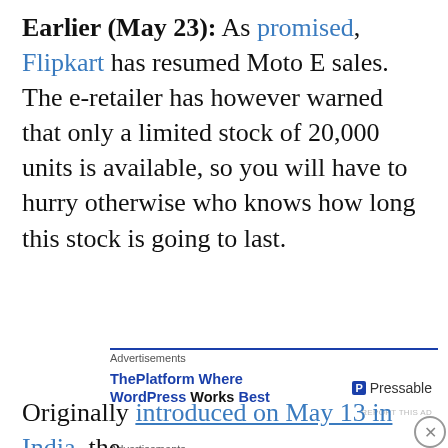Earlier (May 23): As promised, Flipkart has resumed Moto E sales. The e-retailer has however warned that only a limited stock of 20,000 units is available, so you will have to hurry otherwise who knows how long this stock is going to last.
[Figure (other): Advertisement block with blue top border, labeled 'Advertisements'. Contains 'ThePlatform Where WordPress Works Best' ad with Pressable logo.]
Originally introduced on May 13 in India, the
[Figure (other): Bottom advertisement block for DuckDuckGo: 'Search, browse, and email with more privacy. All in One Free App' with DuckDuckGo logo on dark background.]